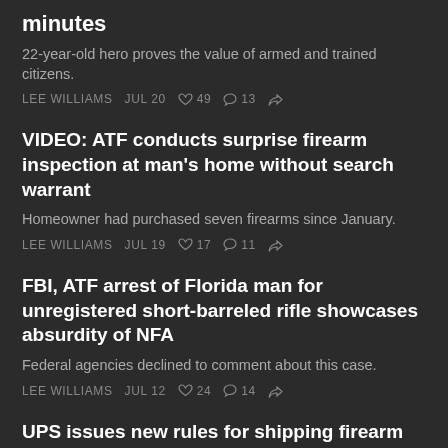minutes
22-year-old hero proves the value of armed and trained citizens.
LEE WILLIAMS  JUL 20  ♡ 49  ○ 13  ↪
VIDEO: ATF conducts surprise firearm inspection at man's home without search warrant
Homeowner had purchased seven firearms since January.
LEE WILLIAMS  JUL 19  ♡ 17  ○ 11  ↪
FBI, ATF arrest of Florida man for unregistered short-barreled rifle showcases absurdity of NFA
Federal agencies declined to comment about this case.
LEE WILLIAMS  JUL 12  ♡ 24  ○ 14  ↪
UPS issues new rules for shipping firearm parts – serial numbers now required